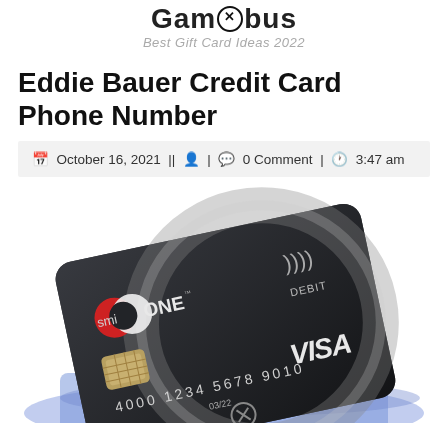Gamgibus
Best Gift Card Ideas 2022
Eddie Bauer Credit Card Phone Number
October 16, 2021 || 0 Comment | 3:47 am
[Figure (photo): A dark smiONE Visa Debit card shown at an angle with card number 4000 1234 5678 9010, expiry 03/22, floating on a blue surface background]